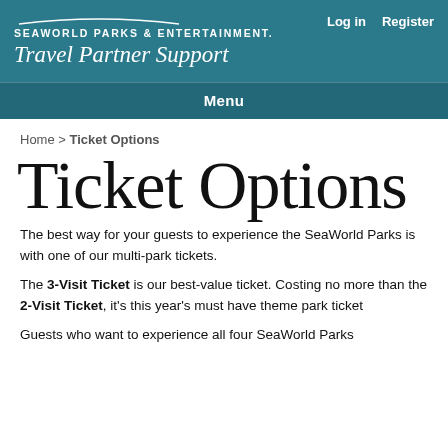SEAWORLD PARKS & ENTERTAINMENT Travel Partner Support | Log in | Register
Menu
Home > Ticket Options
Ticket Options
The best way for your guests to experience the SeaWorld Parks is with one of our multi-park tickets.
The 3-Visit Ticket is our best-value ticket. Costing no more than the 2-Visit Ticket, it's this year's must have theme park ticket
Guests who want to experience all four SeaWorld Parks